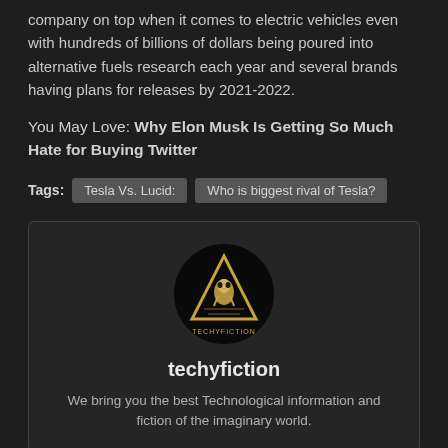company on top when it comes to electric vehicles even with hundreds of billions of dollars being poured into alternative fuels research each year and several brands having plans for releases by 2021-2022.
You May Love: Why Elon Musk Is Getting So Much Hate for Buying Twitter
Tags: Tesla Vs. Lucid: | Who is biggest rival of Tesla?
[Figure (logo): Techyfiction circular logo with a rocket/alien illustration in gold on black background with TECHYFICTION text below]
techyfiction
We bring you the best Technological information and fiction of the imaginary world.